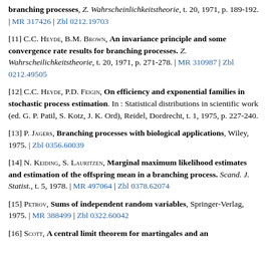[...] branching processes, Z. Wahrscheinlichkeitstheorie, t. 20, 1971, p. 189-192. | MR 317426 | Zbl 0212.19703
[11] C.C. Heyde, B.M. Brown, An invariance principle and some convergence rate results for branching processes. Z. Wahrscheilichkeitstheorie, t. 20, 1971, p. 271-278. | MR 310987 | Zbl 0212.49505
[12] C.C. Heyde, P.D. Feigin, On efficiency and exponential families in stochastic process estimation. In : Statistical distributions in scientific work (ed. G. P. Patil, S. Kotz, J. K. Ord), Reidel, Dordrecht, t. 1, 1975, p. 227-240.
[13] P. Jagers, Branching processes with biological applications, Wiley, 1975. | Zbl 0356.60039
[14] N. Keiding, S. Lauritzen, Marginal maximum likelihood estimates and estimation of the offspring mean in a branching process. Scand. J. Statist., t. 5, 1978. | MR 497064 | Zbl 0378.62074
[15] Petrov, Sums of independent random variables, Springer-Verlag, 1975. | MR 388499 | Zbl 0322.60042
[16] Scott, A central limit theorem for martingales and an